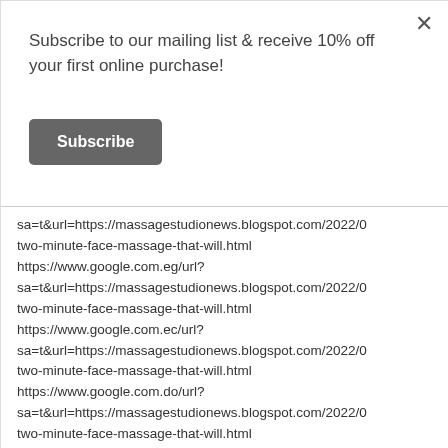Subscribe to our mailing list & receive 10% off your first online purchase!
Subscribe
sa=t&url=https://massagestudionews.blogspot.com/2022/0
two-minute-face-massage-that-will.html
https://www.google.com.eg/url?
sa=t&url=https://massagestudionews.blogspot.com/2022/0
two-minute-face-massage-that-will.html
https://www.google.com.ec/url?
sa=t&url=https://massagestudionews.blogspot.com/2022/0
two-minute-face-massage-that-will.html
https://www.google.com.do/url?
sa=t&url=https://massagestudionews.blogspot.com/2022/0
two-minute-face-massage-that-will.html
https://www.google.com.cy/url?
sa=t&url=https://massagestudionews.blogspot.com/2022/0
two-minute-face-massage-that-will.html